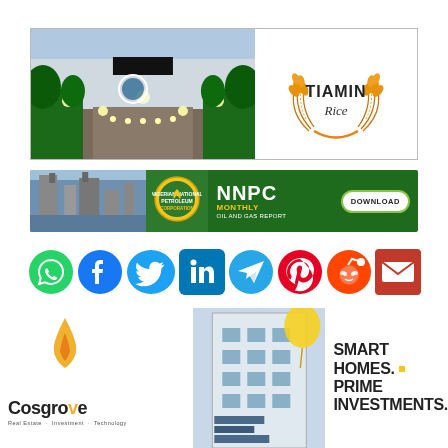[Figure (photo): Tiamin facility exterior photo on left and Tiamin Rice logo (orange wheat wreath) on right, side by side in a bordered banner]
[Figure (infographic): NNPC Monthly Oil and Gas Report banner with industrial photo, NNPC emblem, green background with NNPC MONTHLY OIL AND GAS REPORT text and DOWNLOAD button]
[Figure (infographic): Row of social media icons: WhatsApp, Facebook, Twitter, LinkedIn, Telegram, Pinterest, Reddit, Email]
[Figure (infographic): Cosgrove real estate advertisement with logo (orange flame/house), building photo, and text SMART HOMES. PRIME INVESTMENTS.]